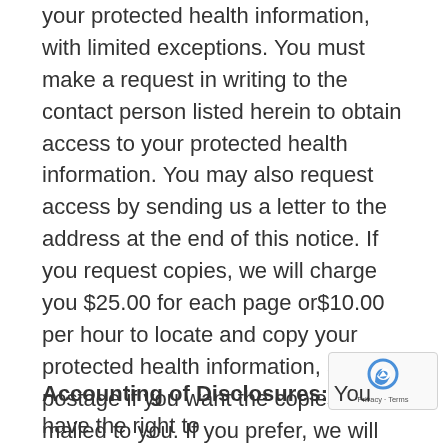your protected health information, with limited exceptions. You must make a request in writing to the contact person listed herein to obtain access to your protected health information. You may also request access by sending us a letter to the address at the end of this notice. If you request copies, we will charge you $25.00 for each page or$10.00 per hour to locate and copy your protected health information, and postage if you want the copies mailed to you. If you prefer, we will prepare a summary or an explanation of your protected health information for a fee. Contact us using the information listed at the end of this notice for a full explanation of our fee structure.
Accounting of Disclosures: You have the right to